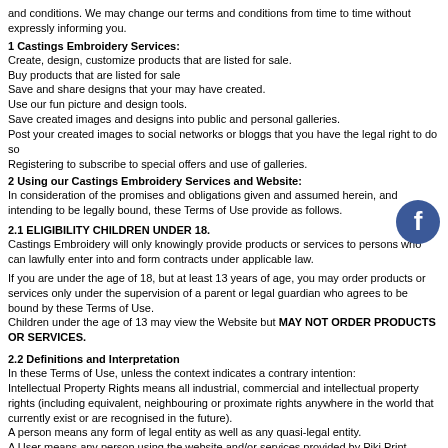and conditions. We may change our terms and conditions from time to time without expressly informing you.
1 Castings Embroidery Services:
Create, design, customize products that are listed for sale.
Buy products that are listed for sale
Save and share designs that your may have created.
Use our fun picture and design tools.
Save created images and designs into public and personal galleries.
Post your created images to social networks or bloggs that you have the legal right to do so
Registering to subscribe to special offers and use of galleries.
2 Using our Castings Embroidery Services and Website:
In consideration of the promises and obligations given and assumed herein, and intending to be legally bound, these Terms of Use provide as follows.
[Figure (logo): Facebook logo icon (circular blue background with white 'f')]
2.1 ELIGIBILITY CHILDREN UNDER 18.
Castings Embroidery will only knowingly provide products or services to persons who can lawfully enter into and form contracts under applicable law.
If you are under the age of 18, but at least 13 years of age, you may order products or services only under the supervision of a parent or legal guardian who agrees to be bound by these Terms of Use.
Children under the age of 13 may view the Website but MAY NOT ORDER PRODUCTS OR SERVICES.
2.2 Definitions and Interpretation
In these Terms of Use, unless the context indicates a contrary intention:
Intellectual Property Rights means all industrial, commercial and intellectual property rights (including equivalent, neighbouring or proximate rights anywhere in the world that currently exist or are recognised in the future).
A person means any form of legal entity as well as any quasi-legal entity.
A User means any person using the website and/or services provided by Piki Print
A reference to any document, material, information or data includes that document, material, information and data howsoever stored, recorded or embodied, including in any